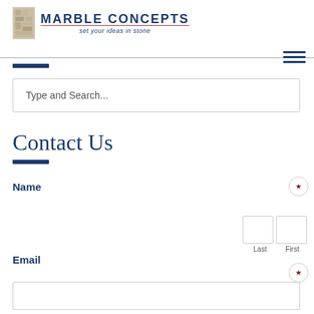[Figure (logo): Marble Concepts logo with stone texture icon, text 'MARBLE CONCEPTS' in bold dark blue with red underline, subtitle 'set your ideas in stone' in italic dark blue]
Type and Search...
Contact Us
Name
Last   First
Email